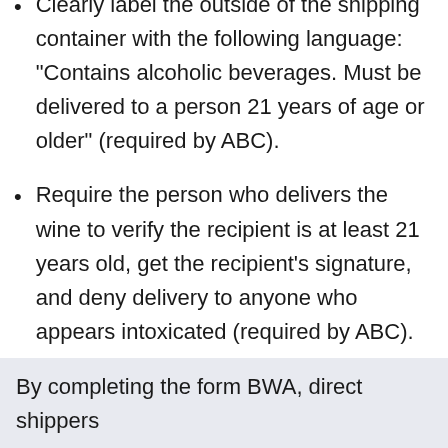Clearly label the outside of the shipping container with the following language: "Contains alcoholic beverages. Must be delivered to a person 21 years of age or older" (required by ABC).
Require the person who delivers the wine to verify the recipient is at least 21 years old, get the recipient's signature, and deny delivery to anyone who appears intoxicated (required by ABC).
By completing the form BWA, direct shippers